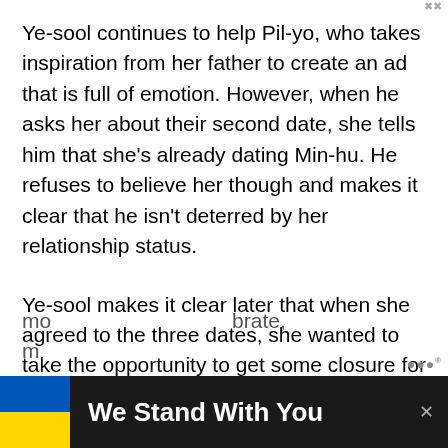Ye-sool continues to help Pil-yo, who takes inspiration from her father to create an ad that is full of emotion. However, when he asks her about their second date, she tells him that she's already dating Min-hu. He refuses to believe her though and makes it clear that he isn't deterred by her relationship status.
Ye-sool makes it clear later that when she agreed to the three dates, she wanted to take the opportunity to get some closure for both of them. It wasn't an invitation to start their relationship over. He asks her what she saw that made her go away more... brate, m...
[Figure (infographic): Advertisement overlay bar at bottom of page. Dark background with Ukrainian flag (blue and yellow), bold white text 'We Stand With You', and a close (x) button.]